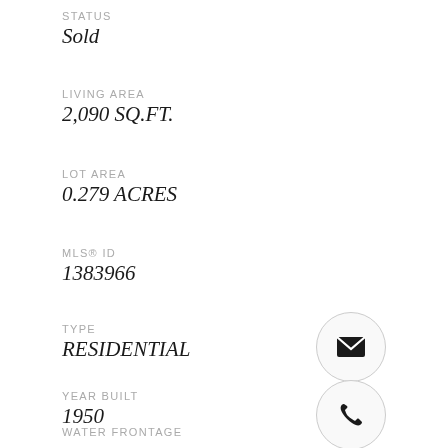STATUS
Sold
LIVING AREA
2,090 SQ.FT.
LOT AREA
0.279 ACRES
MLS® ID
1383966
TYPE
RESIDENTIAL
[Figure (illustration): Email icon inside a light grey circle]
YEAR BUILT
1950
[Figure (illustration): Phone icon inside a light grey circle]
WATER FRONTAGE